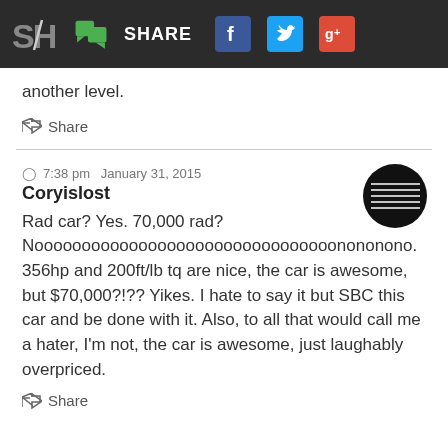SH SHARE [Facebook] [Twitter] [Google+]
another level.
Share
7:38 pm  January 31, 2015
Coryislost
Rad car? Yes. 70,000 rad? Noooooooooooooooooooooooooooooooonononono. 356hp and 200ft/lb tq are nice, the car is awesome, but $70,000?!?? Yikes. I hate to say it but SBC this car and be done with it. Also, to all that would call me a hater, I'm not, the car is awesome, just laughably overpriced.
Share